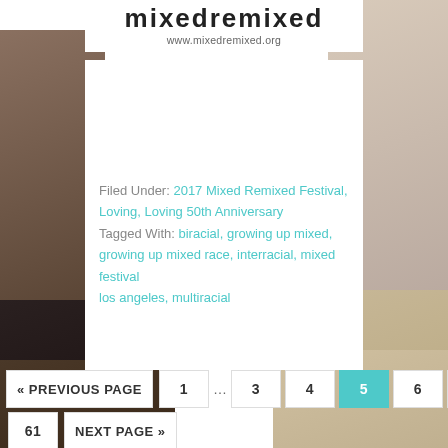mixedremixed
www.mixedremixed.org
Filed Under: 2017 Mixed Remixed Festival, Loving, Loving 50th Anniversary
Tagged With: biracial, growing up mixed, growing up mixed race, interracial, mixed festival los angeles, multiracial
« PREVIOUS PAGE  1  …  3  4  5  6  7
61  NEXT PAGE »